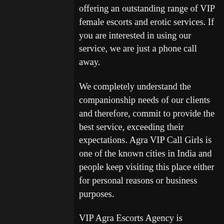offering an outstanding range of VIP female escorts and erotic services. If you are interested in using our service, we are just a phone call away.
We completely understand the companionship needs of our clients and therefore, commit to provide the best service, exceeding their expectations. Agra VIP Call Girls is one of the known cities in India and people keep visiting this place either for personal reasons or business purposes.
VIP Agra Escorts Agency is successfully offering VIP escort services for all our esteemed clients, including local citizens and tourists in Agra . It is absolutely legal and best source where you can meet your sexual desires in a unique way.
The best service with...